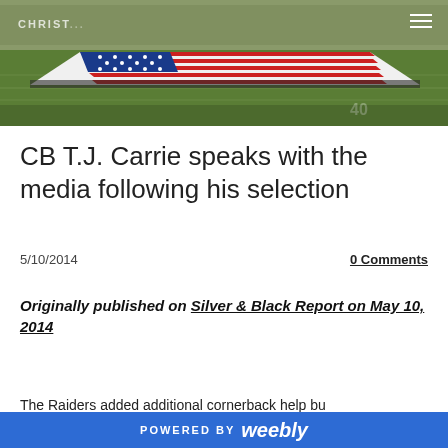[Figure (photo): Aerial view of a football stadium field with a large American flag unfurled across the field, with crowds in the stands]
CB T.J. Carrie speaks with the media following his selection
5/10/2014
0 Comments
Originally published on Silver & Black Report on May 10, 2014
The Raiders added additional cornerback help bu
POWERED BY weebly